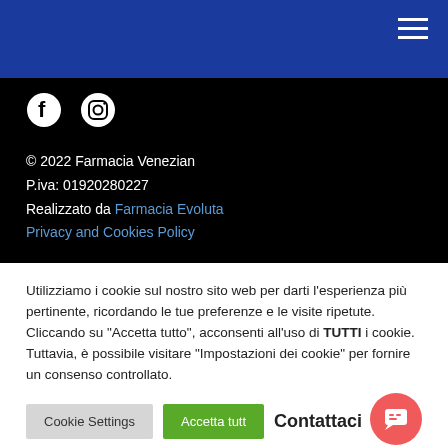Navigation header with hamburger menu
[Figure (logo): Facebook and Instagram social media icons in white on black background]
© 2022 Farmacia Venezian
P.iva: 01920280227
Realizzato da Farmacia Evoluta
Privacy and Cookies Policy
Utilizziamo i cookie sul nostro sito web per darti l'esperienza più pertinente, ricordando le tue preferenze e le visite ripetute. Cliccando su "Accetta tutto", acconsenti all'uso di TUTTI i cookie. Tuttavia, è possibile visitare "Impostazioni dei cookie" per fornire un consenso controllato.
Cookie Settings | Accetta tutt | Contattaci